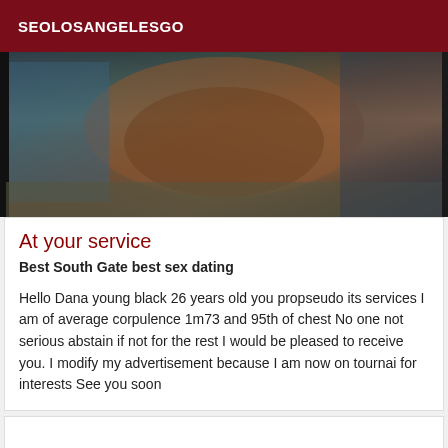SEOLOSANGELESGO
[Figure (photo): A close-up photo showing a person's midsection/torso area, dark and somewhat blurry image with bluish and brownish tones. Black border on left side.]
At your service
Best South Gate best sex dating
Hello Dana young black 26 years old you propseudo its services I am of average corpulence 1m73 and 95th of chest No one not serious abstain if not for the rest I would be pleased to receive you. I modify my advertisement because I am now on tournai for interests See you soon